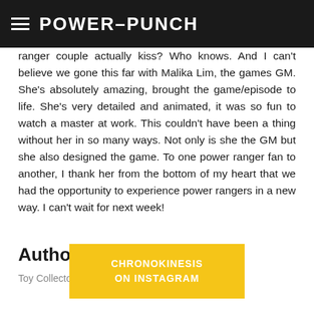POWER-PUNCH
ranger couple actually kiss? Who knows. And I can't believe we gone this far with Malika Lim, the games GM. She's absolutely amazing, brought the game/episode to life. She's very detailed and animated, it was so fun to watch a master at work. This couldn't have been a thing without her in so many ways. Not only is she the GM but she also designed the game. To one power ranger fan to another, I thank her from the bottom of my heart that we had the opportunity to experience power rangers in a new way. I can't wait for next week!
Author: Chronokinesis
Toy Collector and Power Rangers fan
CHRONOKINESIS ON INSTAGRAM